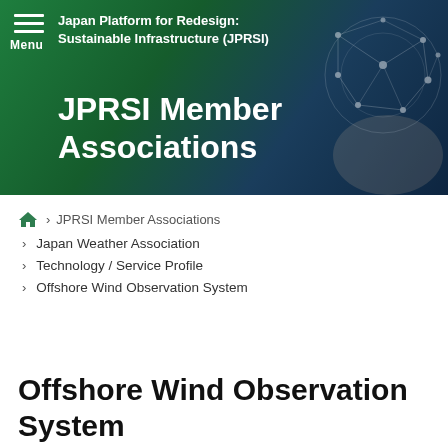Japan Platform for Redesign: Sustainable Infrastructure (JPRSI)
JPRSI Member Associations
Home > JPRSI Member Associations
> Japan Weather Association
> Technology / Service Profile
> Offshore Wind Observation System
Offshore Wind Observation System